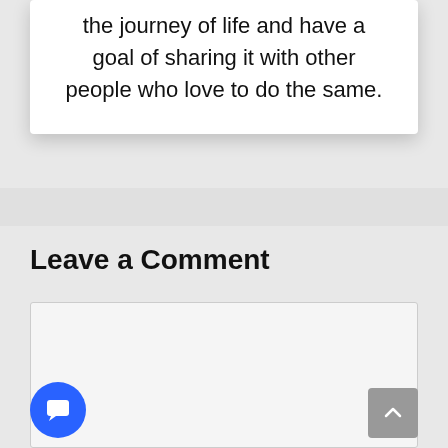the journey of life and have a goal of sharing it with other people who love to do the same.
Leave a Comment
[Figure (other): Empty comment text area input box with light gray background]
[Figure (other): Blue circular chat/comment button with white speech bubble icon, bottom left]
[Figure (other): Gray scroll-to-top button with upward chevron arrow, bottom right]